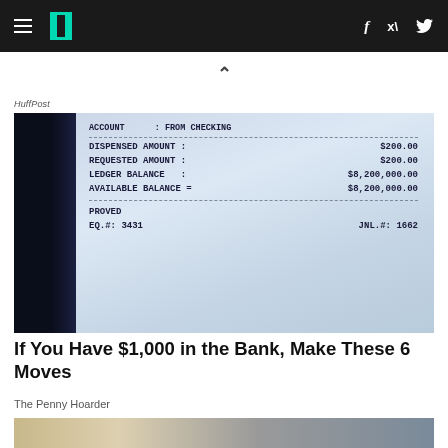HuffPost navigation with hamburger menu, logo, and social icons (f, Twitter)
HuffPost
[Figure (photo): ATM bank receipt showing: ACCOUNT : FROM CHECKING, DISPENSED AMOUNT : $200.00, REQUESTED AMOUNT : $200.00, LEDGER BALANCE : $8,200,000.00, AVAILABLE BALANCE : $8,200,000.00, PROVED, EQ.#: 3431, JNL.#: 1662]
If You Have $1,000 in the Bank, Make These 6 Moves
The Penny Hoarder
[Figure (photo): Partial image of people, possibly in a financial consultation setting]